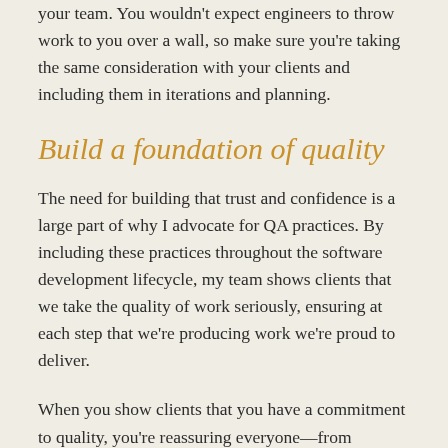your team. You wouldn't expect engineers to throw work to you over a wall, so make sure you're taking the same consideration with your clients and including them in iterations and planning.
Build a foundation of quality
The need for building that trust and confidence is a large part of why I advocate for QA practices. By including these practices throughout the software development lifecycle, my team shows clients that we take the quality of work seriously, ensuring at each step that we're producing work we're proud to deliver.
When you show clients that you have a commitment to quality, you're reassuring everyone—from engineers to product managers to C-suite executives—that you have